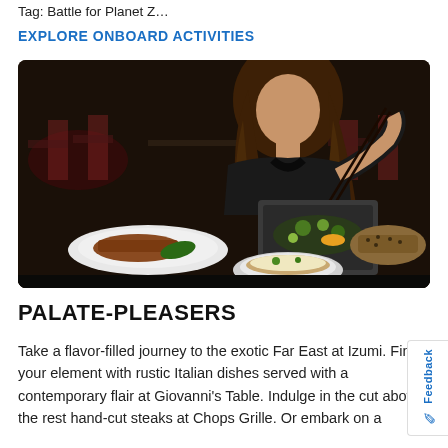Tag: Battle for Planet Z...
EXPLORE ONBOARD ACTIVITIES
[Figure (photo): Woman dining at a restaurant, using chopsticks to pick food from a stone dish, with various Asian dishes on the table in a dimly lit restaurant setting.]
PALATE-PLEASERS
Take a flavor-filled journey to the exotic Far East at Izumi. Find your element with rustic Italian dishes served with a contemporary flair at Giovanni's Table. Indulge in the cut above the rest hand-cut steaks at Chops Grille. Or embark on a